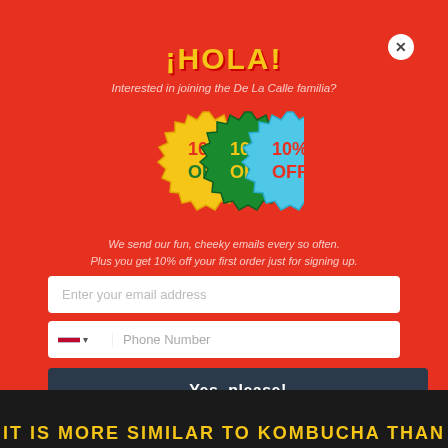¡HOLA!
Interested in joining the De La Calle familia?
[Figure (illustration): Three overlapping starburst/badge shapes in yellow, green, and blue, each reading '10% OFF' in bold stylized text]
We send our fun, cheeky emails every so often.
Plus you get 10% off your first order just for signing up.
Enter your email address
Phone Number
Yes, please!
IT IS MORE SIMILAR TO KOMBUCHA THAN